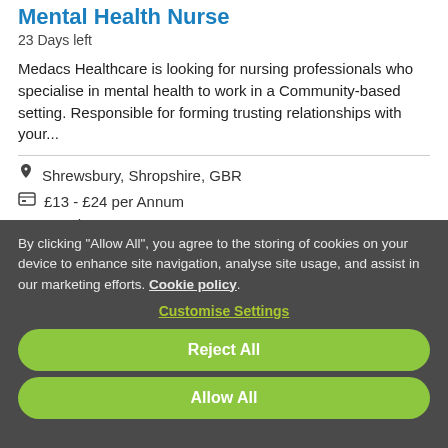Mental Health Nurse
23 Days left
Medacs Healthcare is looking for nursing professionals who specialise in mental health to work in a Community-based setting. Responsible for forming trusting relationships with your...
Shrewsbury, Shropshire, GBR
£13 - £24 per Annum
Band 3
By clicking "Allow All", you agree to the storing of cookies on your device to enhance site navigation, analyse site usage, and assist in our marketing efforts. Cookie policy.
Customise Settings
Reject All
Allow All